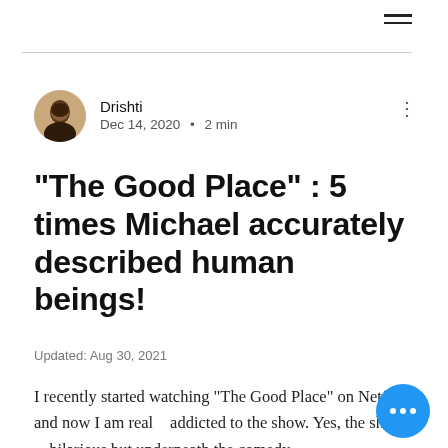≡
Drishti
Dec 14, 2020 · 2 min
"The Good Place" : 5 times Michael accurately described human beings!
Updated: Aug 30, 2021
I recently started watching "The Good Place" on Netflix and now I am really addicted to the show. Yes, the show is hilarious but underneath the comedy,